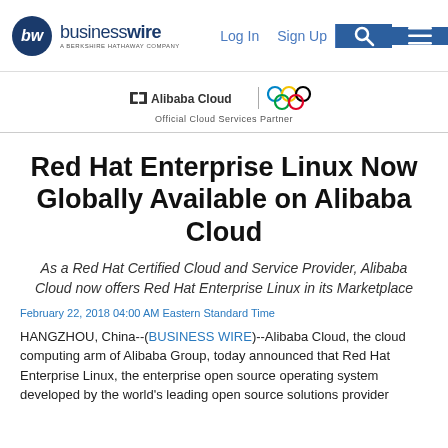businesswire — A BERKSHIRE HATHAWAY COMPANY | Log In | Sign Up
[Figure (logo): Alibaba Cloud — Official Cloud Services Partner logo with Olympic rings]
Red Hat Enterprise Linux Now Globally Available on Alibaba Cloud
As a Red Hat Certified Cloud and Service Provider, Alibaba Cloud now offers Red Hat Enterprise Linux in its Marketplace
February 22, 2018 04:00 AM Eastern Standard Time
HANGZHOU, China--(BUSINESS WIRE)--Alibaba Cloud, the cloud computing arm of Alibaba Group, today announced that Red Hat Enterprise Linux, the enterprise open source operating system developed by the world's leading open source solutions provider